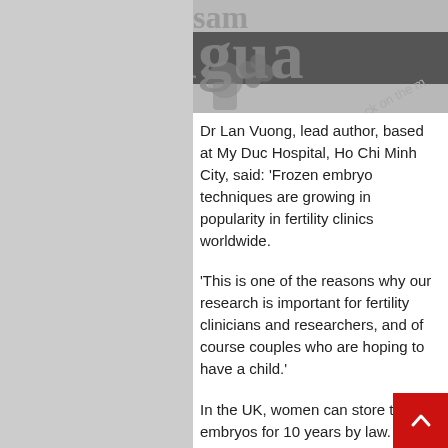[Figure (photo): Partial view of a newspaper (The Guardian) masthead, shown in greyscale, cropped at top.]
Dr Lan Vuong, lead author, based at My Duc Hospital, Ho Chi Minh City, said: ‘Frozen embryo techniques are growing in popularity in fertility clinics worldwide.
‘This is one of the reasons why our research is important for fertility clinicians and researchers, and of course couples who are hoping to have a child.’
In the UK, women can store their embryos for 10 years by law. Those